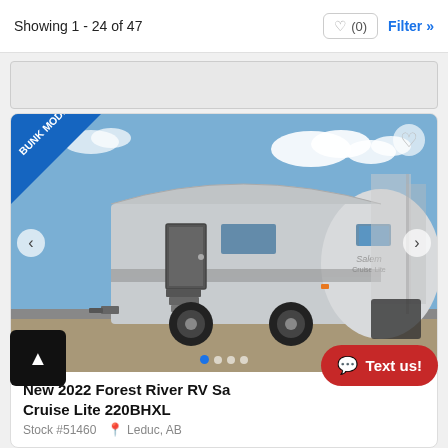Showing 1 - 24 of 47
[Figure (screenshot): Screenshot of an RV listing website showing a 2022 Forest River RV Salem Cruise Lite 220BHXL travel trailer with a 'BUNK MODEL' badge in the top-left corner of the listing photo. The RV is silver/white, photographed outdoors. Navigation arrows, heart/favorite icon, dot pagination, and filter controls are visible.]
New 2022 Forest River RV Salem Cruise Lite 220BHXL
Stock #51460  Leduc, AB